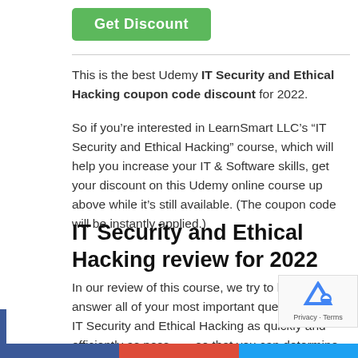[Figure (other): Green 'Get Discount' button]
This is the best Udemy IT Security and Ethical Hacking coupon code discount for 2022.
So if you’re interested in LearnSmart LLC’s “IT Security and Ethical Hacking” course, which will help you increase your IT & Software skills, get your discount on this Udemy online course up above while it’s still available. (The coupon code will be instantly applied.)
IT Security and Ethical Hacking review for 2022
In our review of this course, we try to help you answer all of your most important questions about IT Security and Ethical Hacking as quickly and efficiently as possible, so that you can determine whether this online educational training is worth your time and money.